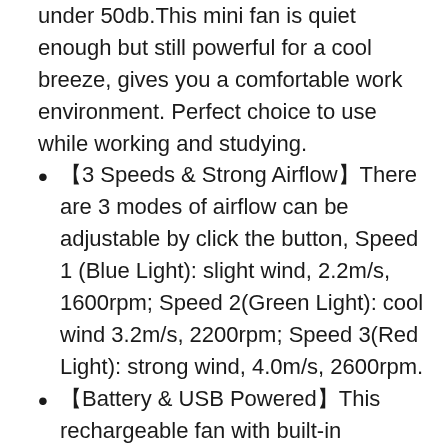this bottom is close to 25db, and the max noise is under 50db.This mini fan is quiet enough but still powerful for a cool breeze, gives you a comfortable work environment. Perfect choice to use while working and studying.
【3 Speeds & Strong Airflow】There are 3 modes of airflow can be adjustable by click the button, Speed 1 (Blue Light): slight wind, 2.2m/s, 1600rpm; Speed 2(Green Light): cool wind 3.2m/s, 2200rpm; Speed 3(Red Light): strong wind, 4.0m/s, 2600rpm.
【Battery & USB Powered】This rechargeable fan with built-in upgraded 2000mAh battery, long working time portable fan for camping, traveling and other working. (Speed 1: 12hours; Speed 2: 6hours; Speed 2: 4.5hours.) You can also plug it into power supply for continuous work.
【180°Tilt Adjustable】The backup stand of this